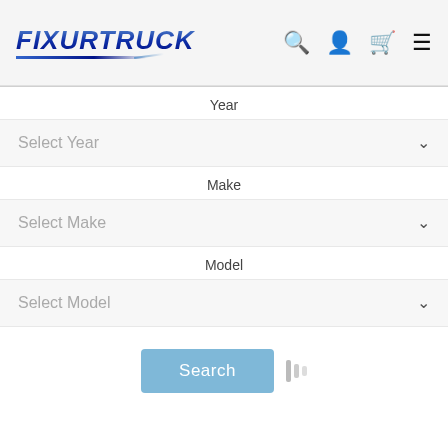[Figure (logo): FIXURTRUCK logo with blue metallic italic text and blue underline accent lines]
Year
Select Year
Make
Select Make
Model
Select Model
[Figure (screenshot): Search button (light blue) and loading/filter icon bars to its right]